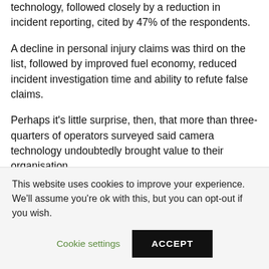technology, followed closely by a reduction in incident reporting, cited by 47% of the respondents.
A decline in personal injury claims was third on the list, followed by improved fuel economy, reduced incident investigation time and ability to refute false claims.
Perhaps it's little surprise, then, that more than three-quarters of operators surveyed said camera technology undoubtedly brought value to their organisation.
On a scale of one to five, where one represents no value
This website uses cookies to improve your experience. We'll assume you're ok with this, but you can opt-out if you wish.
Cookie settings
ACCEPT